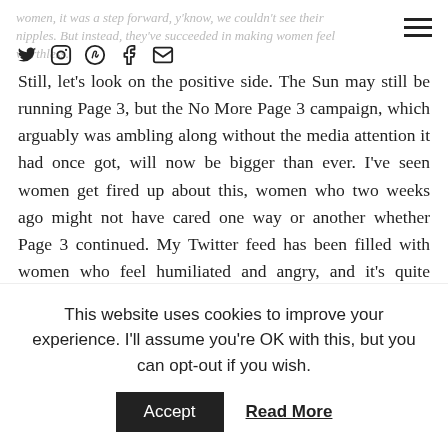women, it was a step forward, y'know, we couldn't see their nipples. But instead, they've succeeded in making women feel worthless.
Still, let's look on the positive side. The Sun may still be running Page 3, but the No More Page 3 campaign, which arguably was ambling along without the media attention it had once got, will now be bigger than ever. I've seen women get fired up about this, women who two weeks ago might not have cared one way or another whether Page 3 continued. My Twitter feed has been filled with women who feel humiliated and angry, and it's quite possible that this whole debacle has made many women – and men –  think about equality and feminism differently for the first time.
We need more people to fight for equality, so if you haven't already, do sign the No More Page 3 petition and make your voice heard.
This website uses cookies to improve your experience. I'll assume you're OK with this, but you can opt-out if you wish.